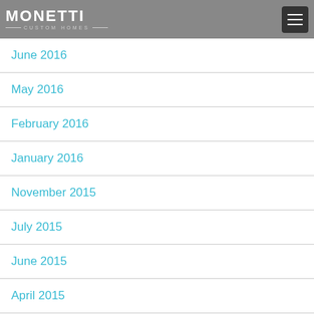MONETTI CUSTOM HOMES
June 2016
May 2016
February 2016
January 2016
November 2015
July 2015
June 2015
April 2015
March 2015
February 2015